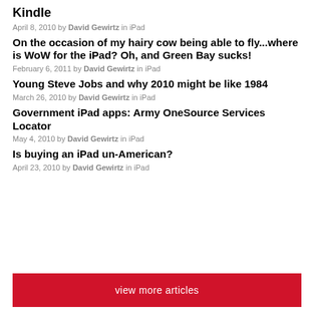Kindle
April 8, 2010 by David Gewirtz in iPad
On the occasion of my hairy cow being able to fly...where is WoW for the iPad? Oh, and Green Bay sucks!
February 6, 2011 by David Gewirtz in iPad
Young Steve Jobs and why 2010 might be like 1984
March 26, 2010 by David Gewirtz in iPad
Government iPad apps: Army OneSource Services Locator
May 4, 2010 by David Gewirtz in iPad
Is buying an iPad un-American?
April 23, 2010 by David Gewirtz in iPad
view more articles